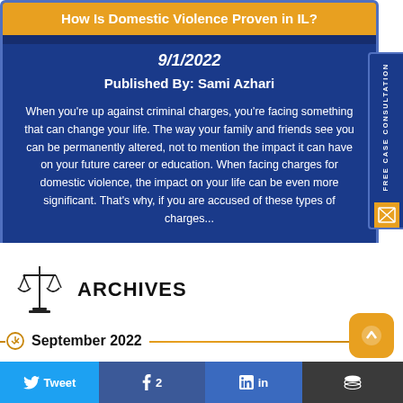How Is Domestic Violence Proven in IL?
9/1/2022
Published By: Sami Azhari
When you're up against criminal charges, you're facing something that can change your life. The way your family and friends see you can be permanently altered, not to mention the impact it can have on your future career or education. When facing charges for domestic violence, the impact on your life can be even more significant. That's why, if you are accused of these types of charges...
[Figure (other): Scales of justice icon for Archives section]
ARCHIVES
September 2022